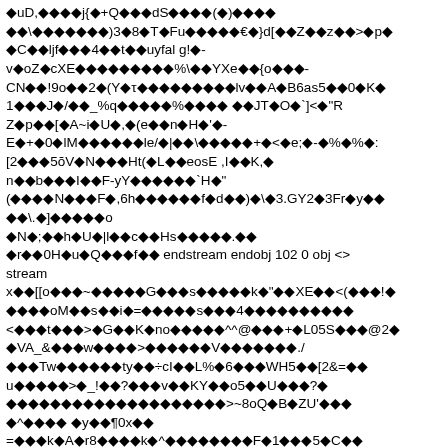◆uD,◆◆◆◆j{◆+Q◆◆◆dS◆◆◆◆(◆)◆◆◆◆ ◆◆\◆◆◆◆◆◆◆)3◆8◆T◆Fu◆◆◆◆◆€◆}d[◆◆Z◆◆z◆◆>◆p◆ ◆C◆◆ljf◆◆◆4◆◆t◆◆uyfal g!◆- v◆oZ◆cXE◆◆◆◆◆◆◆◆◆%\◆◆YXe◆◆{o◆◆◆- CN◆◆!9o◆◆2◆(Y◆τ◆◆◆◆◆◆◆◆◆lv◆◆A◆B6as5◆◆0◆K◆ 1◆◆◆J◆/◆◆_%q◆◆◆◆◆%◆◆◆◆ ◆◆JT◆O◆`]<◆"R Z◆p◆◆[◆A~i◆U◆,◆(e◆◆n◆H◆'◆- E◆+◆0◆lM◆◆◆◆◆◆le/◆|◆◆\◆◆◆◆◆+◆<◆e;◆-◆%◆%◆: [2◆◆◆5ŏV◆N◆◆◆Ht(◆L◆◆eosE ,I◆◆K,◆ n◆◆b◆◆◆I◆◆F-yY◆◆◆◆◆◆`H◆" (◆◆◆◆N◆◆◆F◆,6h◆◆◆◆◆◆f◆d◆◆)◆\◆3.GY2◆3Fr◆y◆◆ ◆◆\.◆]◆◆◆◆◆o ◆N◆;◆◆h◆U◆|l◆◆c◆◆Hs◆◆◆◆◆.◆◆ ◆r◆◆0H◆u◆Q◆◆◆f◆◆ endstream endobj 102 0 obj <> stream x◆◆[[o◆◆◆~◆◆◆◆◆G◆◆◆s◆◆◆◆◆k◆"◆◆XE◆◆<(◆◆◆!◆ ◆◆◆◆oM◆◆s◆◆i◆=◆◆◆◆◆s◆◆◆4◆◆◆◆◆◆◆◆◆◆ <◆◆◆t◆◆◆>◆G◆◆K◆no◆◆◆◆◆^^@◆◆◆+◆L05S◆◆◆@2◆ ◆VA_&◆◆◆w◆◆◆◆>◆◆◆◆◆◆V◆◆◆◆◆◆◆./ ◆◆◆Tw◆◆◆◆◆◆ty◆◆÷cI◆◆L%◆6◆◆◆WH5◆◆[2&=◆◆ u◆◆◆◆◆>◆_!◆◆?◆◆◆v◆◆KY◆◆o5◆◆U◆◆◆?◆ ◆◆◆◆◆◆◆◆◆◆◆◆◆◆◆◆◆◆◆◆>~8oQ◆B◆ZU'◆◆◆ ◆^◆◆◆◆ ◆y◆◆¶0x◆◆ =◆◆◆k◆A◆r8◆◆◆◆k◆^◆◆◆◆◆◆◆◆F◆1◆◆◆5◆C◆◆